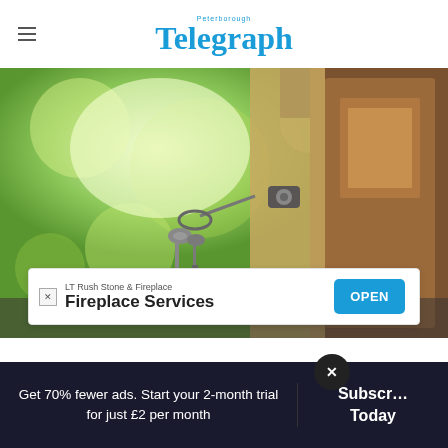Peterborough Telegraph
[Figure (photo): Close-up photo of keys in a door lock, with a green blurred garden background and a wooden door on the right side.]
LT Rush Stone & Fireplace
Fireplace Services
OPEN
Get 70% fewer ads. Start your 2-month trial for just £2 per month
Subscribe Today